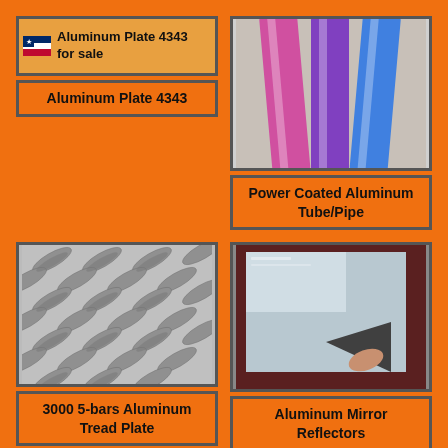[Figure (photo): Small flag icon with text 'Aluminum Plate 4343 for sale' on orange background]
Aluminum Plate 4343
[Figure (photo): Power coated aluminum tubes/pipes in pink, purple and blue colors]
Power Coated Aluminum Tube/Pipe
[Figure (photo): 3000 5-bars aluminum tread plate with diamond/checker pattern in silver]
3000 5-bars Aluminum Tread Plate
[Figure (photo): Aluminum mirror reflector sheet being peeled]
Aluminum Mirror Reflectors